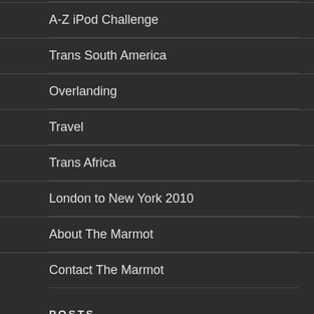A-Z iPod Challenge
Trans South America
Overlanding
Travel
Trans Africa
London to New York 2010
About The Marmot
Contact The Marmot
POSTS
Iris to Ivy